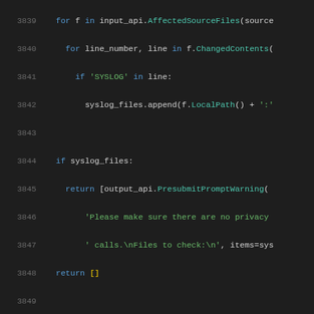[Figure (screenshot): Python source code editor showing lines 3839-3860 with syntax highlighting on dark background. Code includes a loop over AffectedSourceFiles, a syslog check function, and a CheckChangeOnUpload function with multiple results.extend calls.]